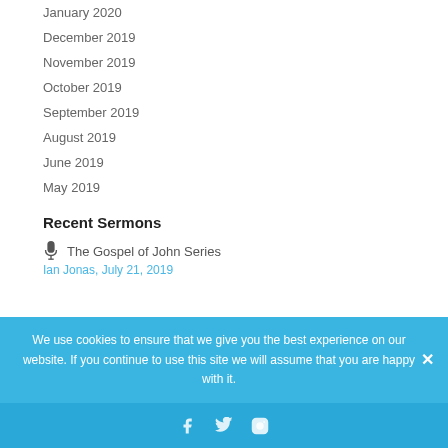January 2020
December 2019
November 2019
October 2019
September 2019
August 2019
June 2019
May 2019
Recent Sermons
The Gospel of John Series
Ian Jonas, July 21, 2019
We use cookies to ensure that we give you the best experience on our website. If you continue to use this site we will assume that you are happy with it.
Social media links: Facebook, Twitter, Instagram